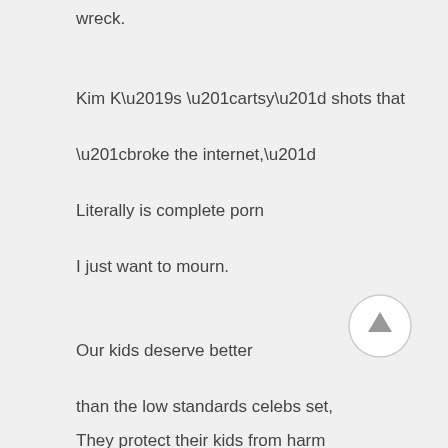wreck.
Kim K's “artsy” shots that
“broke the internet,”
Literally is complete porn
I just want to mourn.
Our kids deserve better
than the low standards celebs set,
They protect their kids from harm
[Figure (other): Circular back-to-top arrow button]